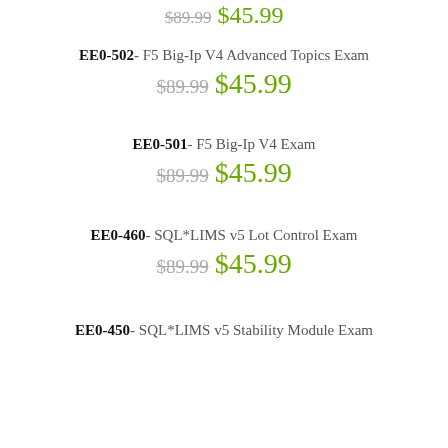$89.99  $45.99
EE0-502- F5 Big-Ip V4 Advanced Topics Exam
$89.99  $45.99
EE0-501- F5 Big-Ip V4 Exam
$89.99  $45.99
EE0-460- SQL*LIMS v5 Lot Control Exam
$89.99  $45.99
EE0-450- SQL*LIMS v5 Stability Module Exam